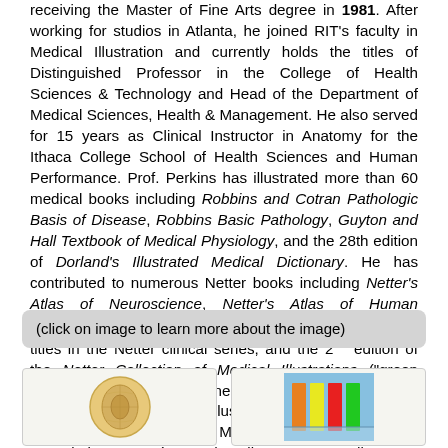receiving the Master of Fine Arts degree in 1981. After working for studios in Atlanta, he joined RIT's faculty in Medical Illustration and currently holds the titles of Distinguished Professor in the College of Health Sciences & Technology and Head of the Department of Medical Sciences, Health & Management. He also served for 15 years as Clinical Instructor in Anatomy for the Ithaca College School of Health Sciences and Human Performance. Prof. Perkins has illustrated more than 60 medical books including Robbins and Cotran Pathologic Basis of Disease, Robbins Basic Pathology, Guyton and Hall Textbook of Medical Physiology, and the 28th edition of Dorland's Illustrated Medical Dictionary. He has contributed to numerous Netter books including Netter's Atlas of Neuroscience, Netter's Atlas of Human Physiology, Netter's Illustrated Pharmacology, several titles in the Netter clinical series, and the 2nd edition of the Netter Collection of Medical Illustrations ("green books"). His work has garnered many awards from the Association of Medical Illustrators, Guild of Natural Science Illustrators, British Medical Association, and the Association Européenne des Illustrateurs Medicaux et Scientifiques.
(click on image to learn more about the image)
[Figure (photo): Left thumbnail image showing a cross-section of a brain structure (appears to be a kidney or brain cross-section in gold/tan tones)]
[Figure (illustration): Right thumbnail image showing a medical illustration with colored bar-like structures against a blue background]